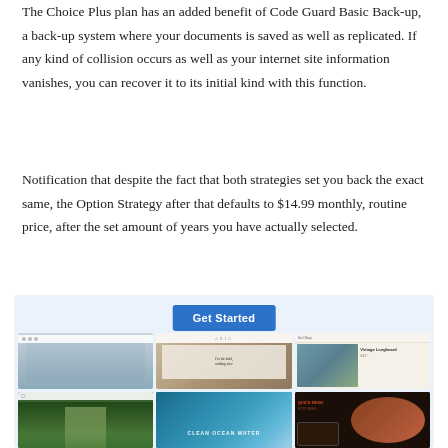The Choice Plus plan has an added benefit of Code Guard Basic Back-up, a back-up system where your documents is saved as well as replicated. If any kind of collision occurs as well as your internet site information vanishes, you can recover it to its initial kind with this function.
Notification that despite the fact that both strategies set you back the exact same, the Option Strategy after that defaults to $14.99 monthly, routine price, after the set amount of years you have actually selected.
[Figure (screenshot): A collage of website template screenshots arranged in a 3x2 grid on a light blue background, with a blue 'Get Started' button at the top center. Templates include architecture/travel site, ARIA fashion, surf shop, forest nature site, ocean wave site, and dark food/restaurant site.]